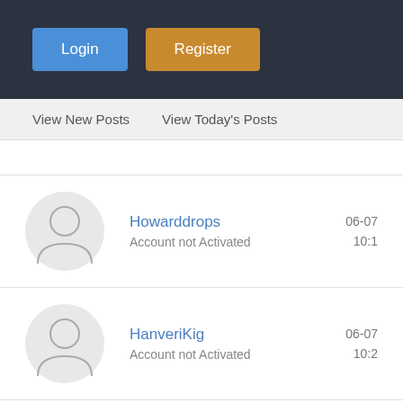Login | Register
View New Posts   View Today's Posts
Howarddrops
Account not Activated
06-07
10:1
HanveriKig
Account not Activated
06-07
10:2
HuekPa
Account not Activated
06-15
11:3